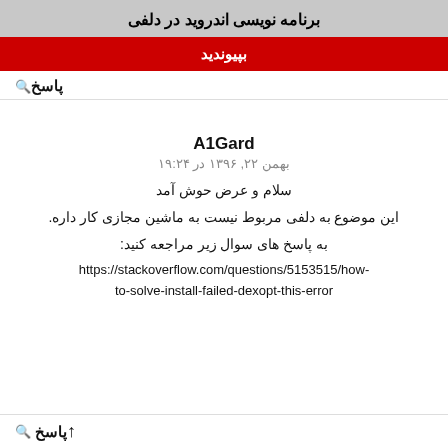برنامه نویسی اندروید در دلفی
بپیوندید
پاسخ
A1Gard
بهمن ۲۲, ۱۳۹۶ در ۱۹:۲۴
سلام و عرض حوش آمد
این موضوع به دلفی مربوط نیست به ماشین مجازی کار داره.
به پاسخ های سوال زیر مراجعه کنید:
https://stackoverflow.com/questions/5153515/how-to-solve-install-failed-dexopt-this-error
پاسخ